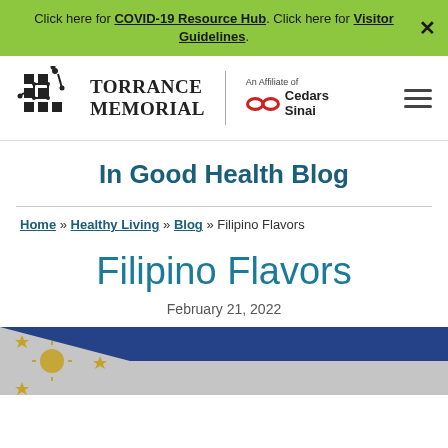Click here for COVID-19 Resource Hub. Click here for Visitor Guidelines.
[Figure (logo): Torrance Memorial Medical Center logo with puzzle-piece icon, and Cedars Sinai affiliate logo]
In Good Health Blog
Home » Healthy Living » Blog » Filipino Flavors
Filipino Flavors
February 21, 2022
[Figure (photo): Philippine flag close-up with blue and white sections, gold stars visible, textured background]